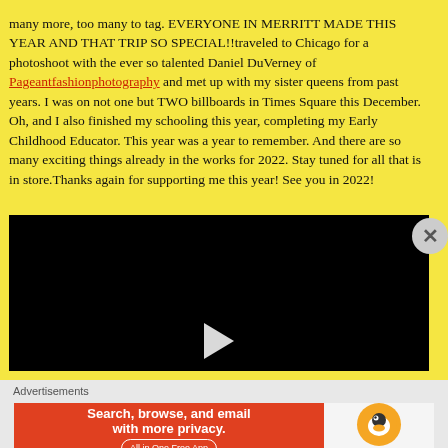many more, too many to tag. EVERYONE IN MERRITT MADE THIS YEAR AND THAT TRIP SO SPECIAL!! traveled to Chicago for a photoshoot with the ever so talented Daniel DuVerney of Pageantfashionphotography and met up with my sister queens from past years. I was on not one but TWO billboards in Times Square this December. Oh, and I also finished my schooling this year, completing my Early Childhood Educator. This year was a year to remember. And there are so many exciting things already in the works for 2022. Stay tuned for all that is in store.Thanks again for supporting me this year! See you in 2022!
[Figure (other): Embedded video player with black background and a white play button triangle]
Advertisements
[Figure (other): DuckDuckGo advertisement banner: 'Search, browse, and email with more privacy. All in One Free App' with DuckDuckGo logo on orange background]